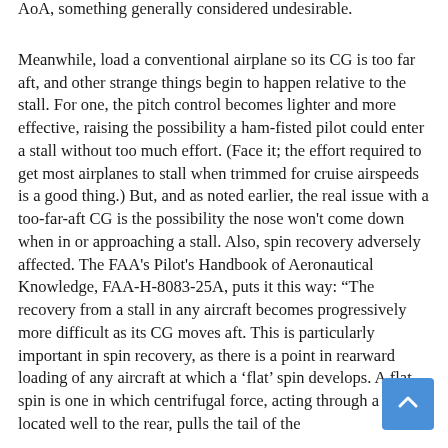AoA, something generally considered undesirable.
Meanwhile, load a conventional airplane so its CG is too far aft, and other strange things begin to happen relative to the stall. For one, the pitch control becomes lighter and more effective, raising the possibility a ham-fisted pilot could enter a stall without too much effort. (Face it; the effort required to get most airplanes to stall when trimmed for cruise airspeeds is a good thing.) But, and as noted earlier, the real issue with a too-far-aft CG is the possibility the nose won't come down when in or approaching a stall. Also, spin recovery adversely affected. The FAA's Pilot's Handbook of Aeronautical Knowledge, FAA-H-8083-25A, puts it this way: “The recovery from a stall in any aircraft becomes progressively more difficult as its CG moves aft. This is particularly important in spin recovery, as there is a point in rearward loading of any aircraft at which a ‘flat’ spin develops. A flat spin is one in which centrifugal force, acting through a CG located well to the rear, pulls the tail of the